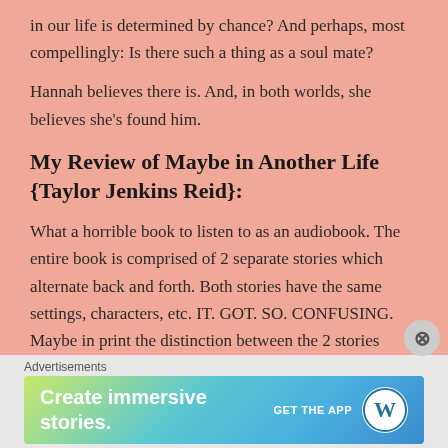in our life is determined by chance? And perhaps, most compellingly: Is there such a thing as a soul mate?
Hannah believes there is. And, in both worlds, she believes she's found him.
My Review of Maybe in Another Life {Taylor Jenkins Reid}:
What a horrible book to listen to as an audiobook. The entire book is comprised of 2 separate stories which alternate back and forth. Both stories have the same settings, characters, etc. IT. GOT. SO. CONFUSING. Maybe in print the distinction between the 2 stories
Advertisements
Create immersive stories. GET THE APP